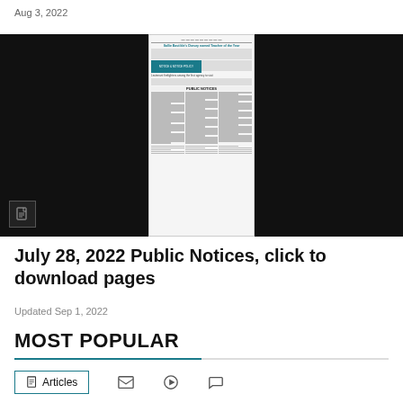Aug 3, 2022
[Figure (screenshot): Three-panel image strip: left and right panels are black/dark rectangles, center panel shows a miniature newspaper page with 'PUBLIC NOTICES' heading and dense text columns. A PDF icon is visible in the lower-left of the left panel.]
July 28, 2022 Public Notices, click to download pages
Updated Sep 1, 2022
MOST POPULAR
Articles